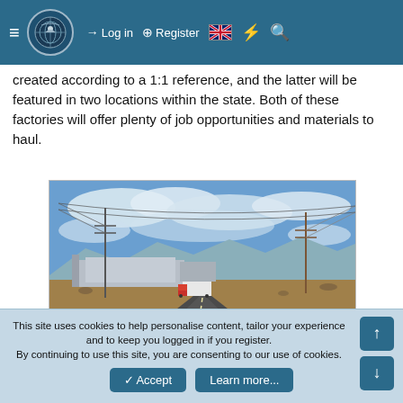Navigation bar with hamburger menu, logo, Log in, Register, UK flag, lightning bolt, and search icons
created according to a 1:1 reference, and the latter will be featured in two locations within the state. Both of these factories will offer plenty of job opportunities and materials to haul.
[Figure (photo): A truck driving on a road approaching an industrial facility with power lines on both sides, mountains in the background, and blue sky with scattered clouds.]
[Figure (photo): Partial view of a dark nighttime or interior scene, partially visible at the bottom of the page.]
This site uses cookies to help personalise content, tailor your experience and to keep you logged in if you register.
By continuing to use this site, you are consenting to our use of cookies.